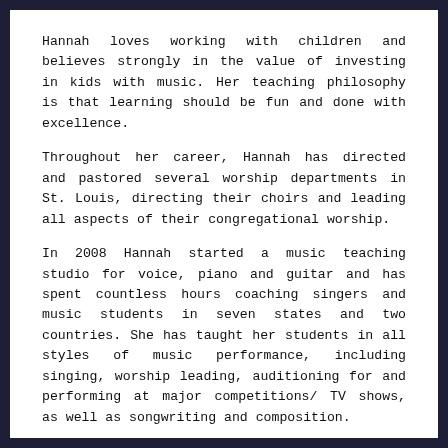Hannah loves working with children and believes strongly in the value of investing in kids with music. Her teaching philosophy is that learning should be fun and done with excellence.
Throughout her career, Hannah has directed and pastored several worship departments in St. Louis, directing their choirs and leading all aspects of their congregational worship.
In 2008 Hannah started a music teaching studio for voice, piano and guitar and has spent countless hours coaching singers and music students in seven states and two countries. She has taught her students in all styles of music performance, including singing, worship leading, auditioning for and performing at major competitions/ TV shows, as well as songwriting and composition.